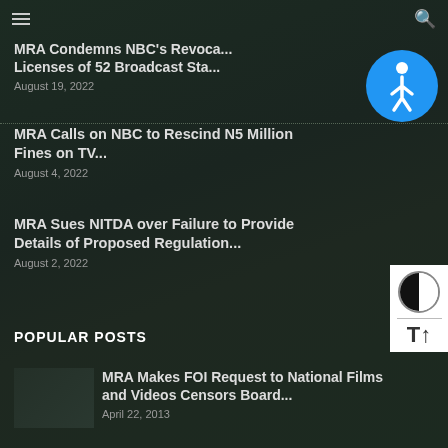MRA Condemns NBC's Revocation of Licenses of 52 Broadcast Sta...
August 19, 2022
MRA Calls on NBC to Rescind N5 Million Fines on TV...
August 4, 2022
MRA Sues NITDA over Failure to Provide Details of Proposed Regulation...
August 2, 2022
POPULAR POSTS
MRA Makes FOI Request to National Films and Videos Censors Board...
April 22, 2013